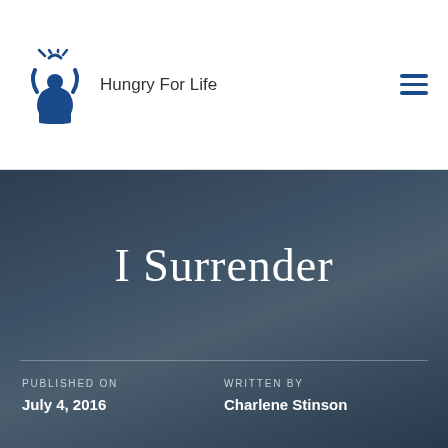Hungry For Life
I Surrender
PUBLISHED ON
July 4, 2016
WRITTEN BY
Charlene Stinson
READ TIME
CATEGORY